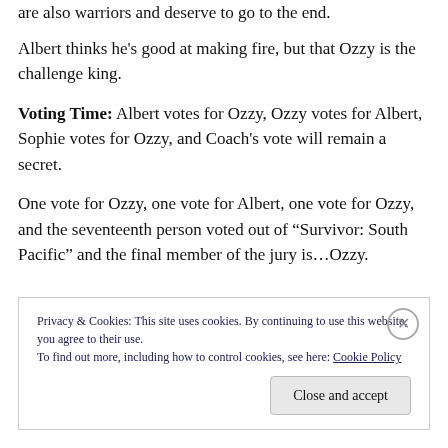are also warriors and deserve to go to the end.
Albert thinks he's good at making fire, but that Ozzy is the challenge king.
Voting Time: Albert votes for Ozzy, Ozzy votes for Albert, Sophie votes for Ozzy, and Coach's vote will remain a secret.
One vote for Ozzy, one vote for Albert, one vote for Ozzy, and the seventeenth person voted out of "Survivor: South Pacific" and the final member of the jury is…Ozzy.
Privacy & Cookies: This site uses cookies. By continuing to use this website, you agree to their use. To find out more, including how to control cookies, see here: Cookie Policy